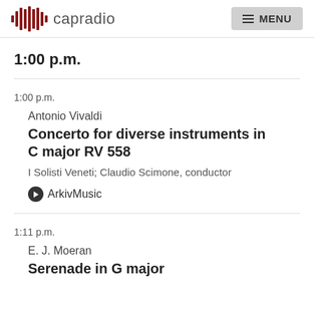capradio  MENU
1:00 p.m.
1:00 p.m.
Antonio Vivaldi
Concerto for diverse instruments in C major RV 558
I Solisti Veneti; Claudio Scimone, conductor
ArkivMusic
1:11 p.m.
E. J. Moeran
Serenade in G major